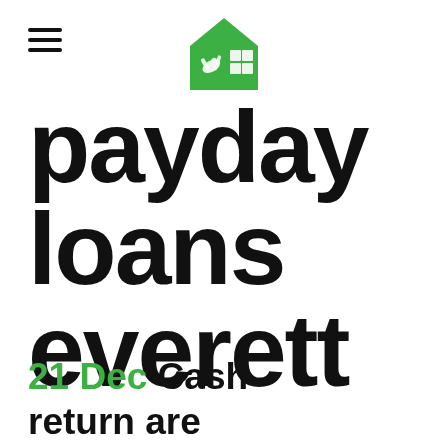[Figure (logo): Green house-shaped logo with a hand holding tools icon, white color on green background]
payday loans everett
21 Dec Cash return are